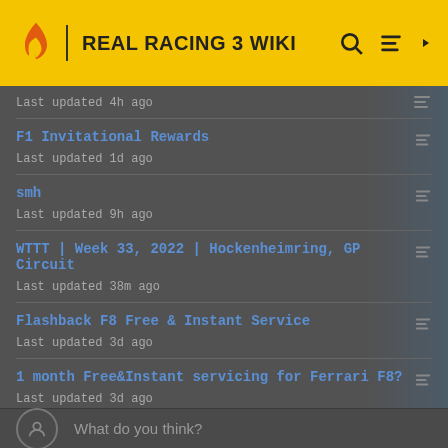REAL RACING 3 WIKI
Last updated 4h ago
F1 Invitational Rewards
Last updated 1d ago
smh
Last updated 9h ago
WTTT | Week 33, 2022 | Hockenheimring, GP Circuit
Last updated 38m ago
Flashback F8 Free & Instant Service
Last updated 3d ago
1 month Free&Instant servicing for Ferrari F8?
Last updated 3d ago
SEE MORE →
What do you think?